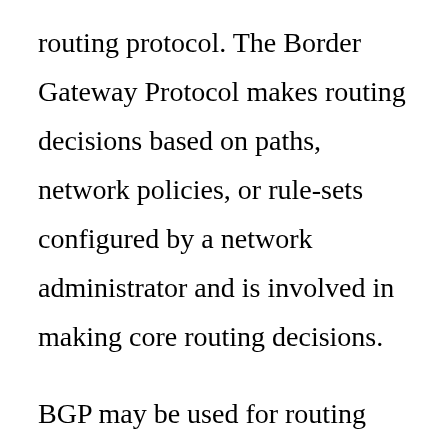routing protocol. The Border Gateway Protocol makes routing decisions based on paths, network policies, or rule-sets configured by a network administrator and is involved in making core routing decisions.

BGP may be used for routing within an autonomous system. In this application it is referred to as Interior Border Gateway Protocol, Internal BGP, or iBGP. In contrast, the Internet application of the protocol may be referred to as Exterior Border Gateway